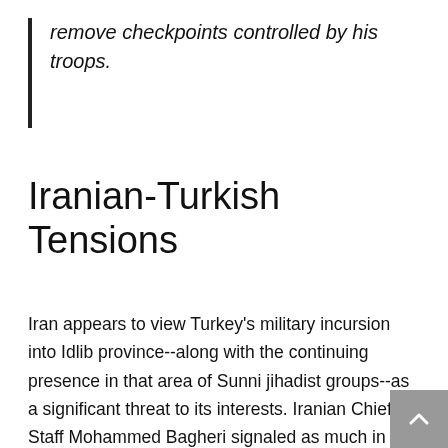remove checkpoints controlled by his troops.
Iranian-Turkish Tensions
Iran appears to view Turkey's military incursion into Idlib province--along with the continuing presence in that area of Sunni jihadist groups--as a significant threat to its interests. Iranian Chief of Staff Mohammed Bagheri signaled as much in July, when he urged Ankara to pursue its security objective not by occupying Syrian territory or using force, but rather through